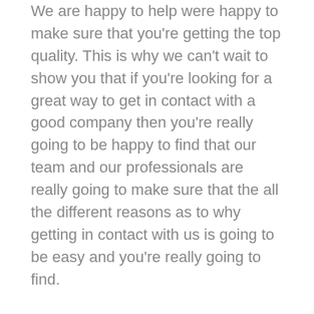We are happy to help were happy to make sure that you're getting the top quality. This is why we can't wait to show you that if you're looking for a great way to get in contact with a good company then you're really going to be happy to find that our team and our professionals are really going to make sure that the all the different reasons as to why getting in contact with us is going to be easy and you're really going to find.
We want you to see our past clients and their revenue is really going to be amazing because of the help of our coaches on our company which is why he should definitely want to check on our clients.